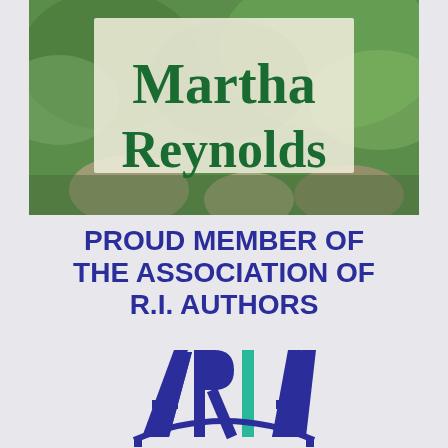[Figure (illustration): Book cover with garden/nature background showing rocks and greenery, with a frosted text box overlay displaying the author name Martha Reynolds in dark green serif font]
PROUD MEMBER OF THE ASSOCIATION OF R.I. AUTHORS
[Figure (logo): ARIA logo - large letters A R I A where the I is in teal/green and the surrounding letters are dark navy blue, styled as an arch/bridge shape]